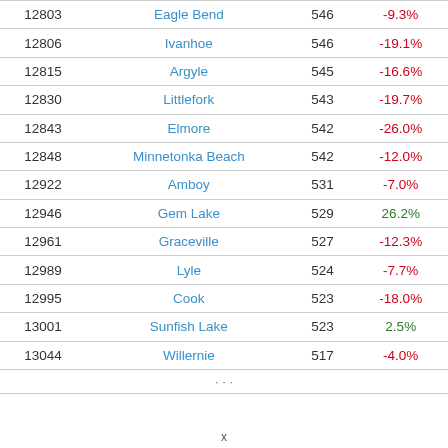| Rank | City | Population | Change |
| --- | --- | --- | --- |
| 12803 | Eagle Bend | 546 | -9.3% |
| 12806 | Ivanhoe | 546 | -19.1% |
| 12815 | Argyle | 545 | -16.6% |
| 12830 | Littlefork | 543 | -19.7% |
| 12843 | Elmore | 542 | -26.0% |
| 12848 | Minnetonka Beach | 542 | -12.0% |
| 12922 | Amboy | 531 | -7.0% |
| 12946 | Gem Lake | 529 | 26.2% |
| 12961 | Graceville | 527 | -12.3% |
| 12989 | Lyle | 524 | -7.7% |
| 12995 | Cook | 523 | -18.0% |
| 13001 | Sunfish Lake | 523 | 2.5% |
| 13044 | Willernie | 517 | -4.0% |
x